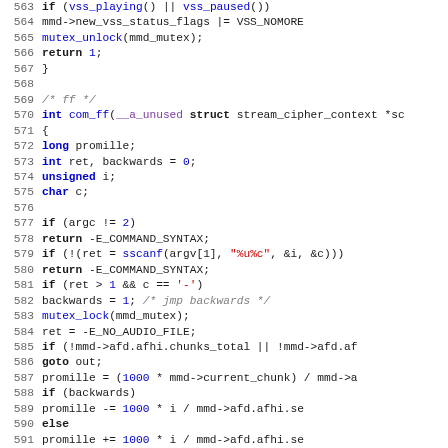[Figure (screenshot): Source code listing in C, lines 563-595, showing a function com_ff with mutex handling, sscanf parsing, and promille calculation logic. Syntax highlighted with line numbers.]